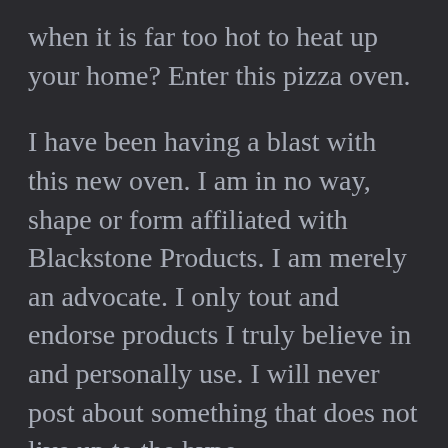when it is far too hot to heat up your home? Enter this pizza oven.
I have been having a blast with this new oven. I am in no way, shape or form affiliated with Blackstone Products. I am merely an advocate. I only tout and endorse products I truly believe in and personally use. I will never post about something that does not live up to the hype.
I am not sure how long the new pizza